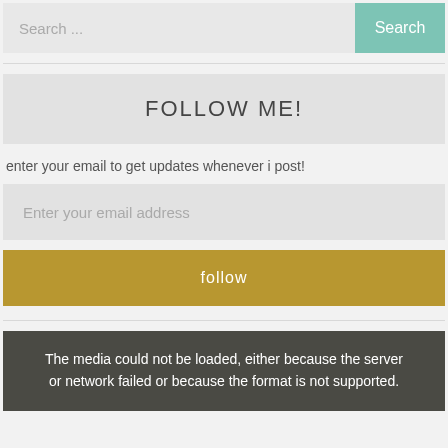[Figure (screenshot): Search bar with placeholder text 'Search ...' and a teal 'Search' button on the right]
FOLLOW ME!
enter your email to get updates whenever i post!
[Figure (screenshot): Email input field with placeholder 'Enter your email address']
[Figure (screenshot): Gold/yellow 'follow' button]
The media could not be loaded, either because the server or network failed or because the format is not supported.